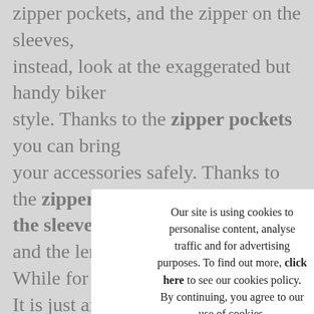zipper pockets, and the zipper on the sleeves, instead, look at the exaggerated but handy biker style. Thanks to the zipper pockets you can bring your accessories safely. Thanks to the zippers on the sleeves you can adjust the fit and the length. While for the zipper on the chest... It is just an ex[aggerated detail!] O[ur jacket is made in] Ita[lian leather that] gr[ows with your] re[quirements with] qu[ality at its finest,] in[...] yo[u...] Ita[lian leather] ja[cket]
H[ow to style] s[leeve jacket]
Le[arn how] na[tural leather] sh[ines]
Our site is using cookies to personalise content, analyse traffic and for advertising purposes. To find out more, click here to see our cookies policy. By continuing, you agree to our use of cookies.
MODIFY
I AGREE